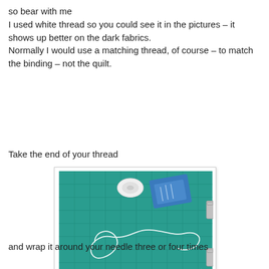so bear with me
I used white thread so you could see it in the pictures – it shows up better on the dark fabrics.
Normally I would use a matching thread, of course – to match the binding – not the quilt.
Take the end of your thread
[Figure (photo): Photo of a teal/green cutting mat with a white thread laid out in a curvy shape, a roll of white thread in the background, a blue needle card, and clips/scissors visible at edges. Watermark reads: © 2011 – alefthandedquilter.blogspot.com]
and wrap it around your needle three or four times